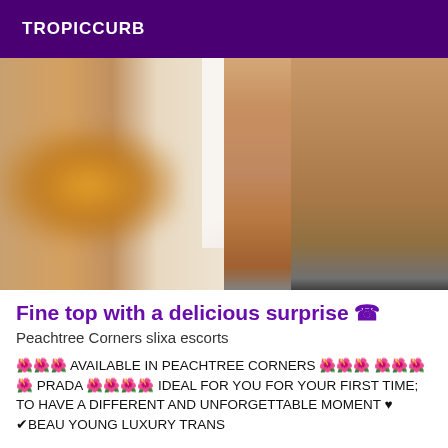TROPICCURB
[Figure (photo): Photo showing legs of a person standing, with an orange blurred object on the left and a white wall background on the right. Shoes visible at the bottom.]
Fine top with a delicious surprise ☎
Peachtree Corners slixa escorts
🌺🌺🌺 AVAILABLE IN PEACHTREE CORNERS 🌺🌺🌺 🌺🌺🌺🌺 PRADA 🌺🌺🌺🌺 IDEAL FOR YOU FOR YOUR FIRST TIME; TO HAVE A DIFFERENT AND UNFORGETTABLE MOMENT ♥ ✔BEAU YOUNG LUXURY TRANS